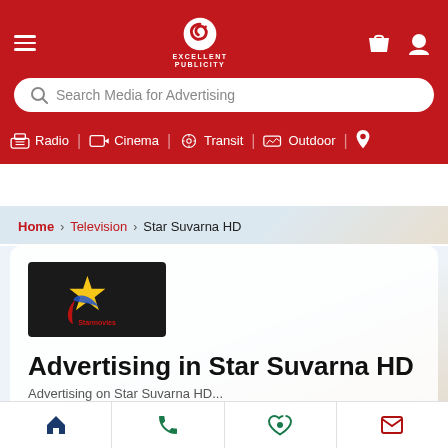[Figure (screenshot): Excellent Publicity website header with logo, hamburger menu, shopping bag and user icons on red background]
Search Media for Advertising
Radio
Cinema
Transit
Outdoor
Home > Television > Star Suvarna HD
[Figure (logo): Star Suvarna HD channel logo on black background]
Advertising in Star Suvarna HD
Advertising on Star Suvarna HD...